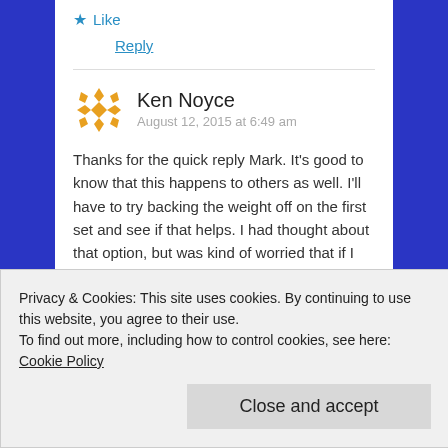★ Like
Reply
Ken Noyce
August 12, 2015 at 6:49 am
Thanks for the quick reply Mark. It's good to know that this happens to others as well. I'll have to try backing the weight off on the first set and see if that helps. I had thought about that option, but was kind of worried that if I did so It'd just be painful
Privacy & Cookies: This site uses cookies. By continuing to use this website, you agree to their use.
To find out more, including how to control cookies, see here: Cookie Policy
Close and accept